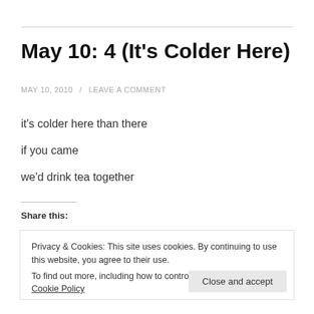May 10: 4 (It's Colder Here)
MAY 10, 2010 / LEAVE A COMMENT
it's colder here than there
if you came
we'd drink tea together
Share this:
Privacy & Cookies: This site uses cookies. By continuing to use this website, you agree to their use.
To find out more, including how to control cookies, see here: Cookie Policy
Close and accept